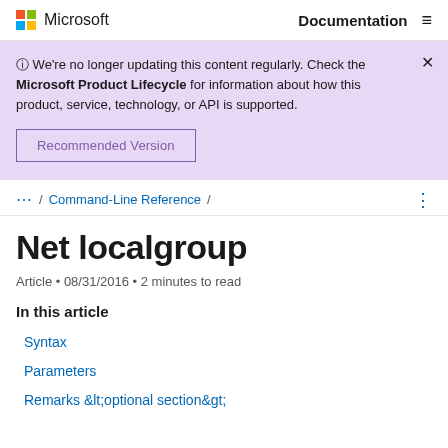Microsoft  Documentation
We're no longer updating this content regularly. Check the Microsoft Product Lifecycle for information about how this product, service, technology, or API is supported.
Recommended Version
... / Command-Line Reference /
Net localgroup
Article • 08/31/2016 • 2 minutes to read
In this article
Syntax
Parameters
Remarks &lt;optional section&gt;